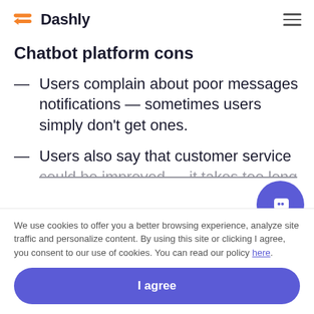Dashly
Chatbot platform cons
Users complain about poor messages notifications — sometimes users simply don't get ones.
Users also say that customer service could be improved — it takes too long…
We use cookies to offer you a better browsing experience, analyze site traffic and personalize content. By using this site or clicking I agree, you consent to our use of cookies. You can read our policy here.
I agree